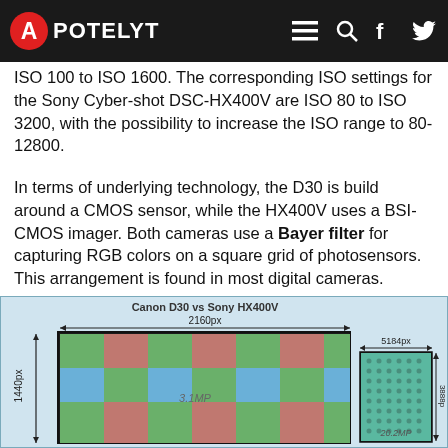APOTELYT
ISO 100 to ISO 1600. The corresponding ISO settings for the Sony Cyber-shot DSC-HX400V are ISO 80 to ISO 3200, with the possibility to increase the ISO range to 80-12800.
In terms of underlying technology, the D30 is build around a CMOS sensor, while the HX400V uses a BSI-CMOS imager. Both cameras use a Bayer filter for capturing RGB colors on a square grid of photosensors. This arrangement is found in most digital cameras.
[Figure (illustration): Bayer filter sensor size comparison diagram showing Canon D30 (2160px x 1440px, 3.1MP) vs Sony HX400V (5184px x 3888px, 20.2MP) with colored grid pattern representing RGGB Bayer filter mosaic]